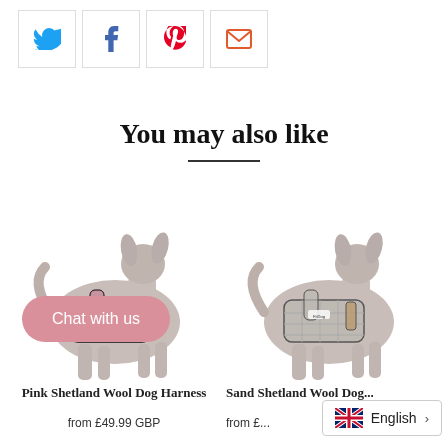[Figure (other): Row of four social sharing icon buttons: Twitter (blue bird), Facebook (f), Pinterest (P), Email (envelope)]
You may also like
[Figure (photo): Dog mannequin wearing a pink plaid Shetland Wool dog harness, shown from the side/back]
[Figure (photo): Dog mannequin wearing a sand/grey plaid Shetland Wool dog harness, shown from the side/back]
Pink Shetland Wool Dog Harness
from £49.99 GBP
Sand Shetland Wool Dog Harness
from £...
Chat with us
English